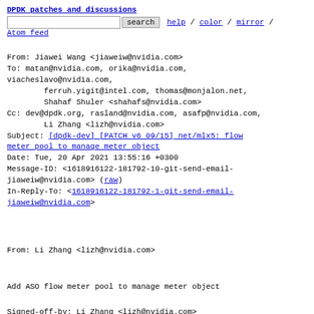DPDK patches and discussions
search  help / color / mirror / Atom feed
From: Jiawei Wang <jiaweiw@nvidia.com>
To: matan@nvidia.com, orika@nvidia.com,
viacheslavo@nvidia.com,
        ferruh.yigit@intel.com, thomas@monjalon.net,
        Shahaf Shuler <shahafs@nvidia.com>
Cc: dev@dpdk.org, rasland@nvidia.com, asafp@nvidia.com,
        Li Zhang <lizh@nvidia.com>
Subject: [dpdk-dev] [PATCH v6 09/15] net/mlx5: flow meter pool to manage meter object
Date: Tue, 20 Apr 2021 13:55:16 +0300
Message-ID: <1618916122-181792-10-git-send-email-jiaweiw@nvidia.com> (raw)
In-Reply-To: <1618916122-181792-1-git-send-email-jiaweiw@nvidia.com>
From: Li Zhang <lizh@nvidia.com>
Add ASO flow meter pool to manage meter object
Signed-off-by: Li Zhang <lizh@nvidia.com>
Acked-by: Matan Azrad <matan@nvidia.com>
---
 drivers/net/mlx5/mlx5.c                       |   2 +-
 drivers/net/mlx5/mlx5.h                       | 207
 +++++++++++++++++++-